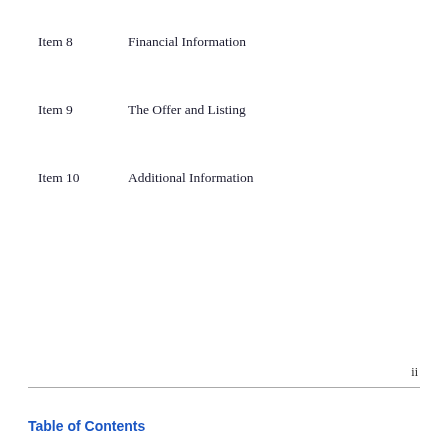Item 8        Financial Information
Item 9        The Offer and Listing
Item 10       Additional Information
ii
Table of Contents